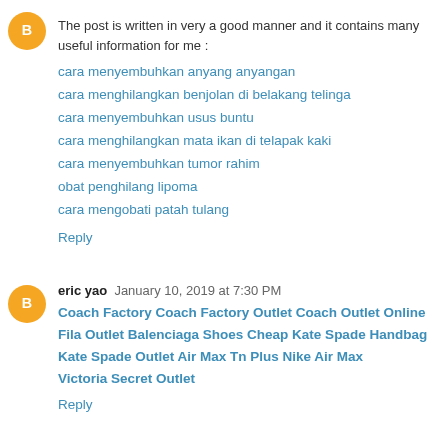The post is written in very a good manner and it contains many useful information for me :
cara menyembuhkan anyang anyangan
cara menghilangkan benjolan di belakang telinga
cara menyembuhkan usus buntu
cara menghilangkan mata ikan di telapak kaki
cara menyembuhkan tumor rahim
obat penghilang lipoma
cara mengobati patah tulang
Reply
eric yao  January 10, 2019 at 7:30 PM
Coach Factory Coach Factory Outlet Coach Outlet Online Fila Outlet Balenciaga Shoes Cheap Kate Spade Handbag Kate Spade Outlet Air Max Tn Plus Nike Air Max Victoria Secret Outlet
Reply